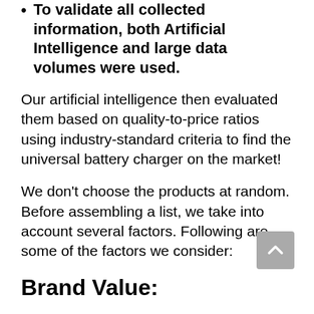To validate all collected information, both Artificial Intelligence and large data volumes were used.
Our artificial intelligence then evaluated them based on quality-to-price ratios using industry-standard criteria to find the universal battery charger on the market!
We don’t choose the products at random. Before assembling a list, we take into account several factors. Following are some of the factors we consider:
Brand Value: